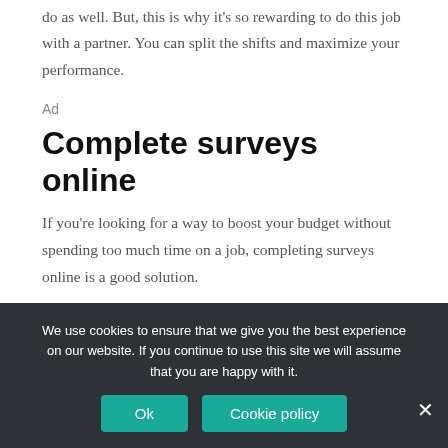do as well. But, this is why it's so rewarding to do this job with a partner. You can split the shifts and maximize your performance.
Ad
Complete surveys online
If you're looking for a way to boost your budget without spending too much time on a job, completing surveys online is a good solution.
This source of income is versatile. You can do it anytime, anywhere. And it will take next to no time.
We use cookies to ensure that we give you the best experience on our website. If you continue to use this site we will assume that you are happy with it.